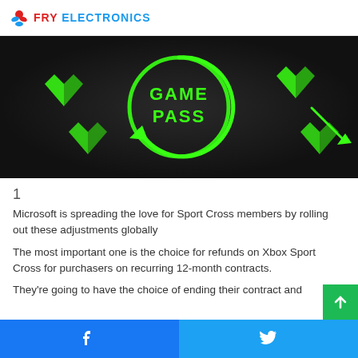FRY ELECTRONICS
[Figure (photo): Xbox Game Pass promotional image with neon green Game Pass logo surrounded by green heart decorations on a dark background]
1
Microsoft is spreading the love for Sport Cross members by rolling out these adjustments globally
The most important one is the choice for refunds on Xbox Sport Cross for purchasers on recurring 12-month contracts.
They're going to have the choice of ending their contract and